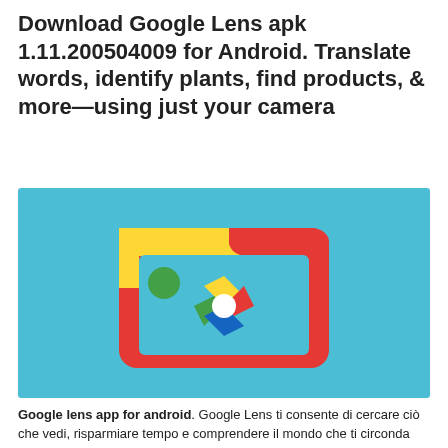Download Google Lens apk 1.11.200504009 for Android. Translate words, identify plants, find products, & more—using just your camera
[Figure (logo): Google Lens app icon on a light blue background: a rounded rectangle frame in red, yellow, and blue colors containing a Google Photos pinwheel logo (red, yellow, green, blue petals with white center) and a green circle in the upper left.]
Google lens app for android. Google Lens ti consente di cercare ciò che vedi, risparmiare tempo e comprendere il mondo che ti circonda utilizzando la fotocamera — con CONDIVIDE E TPARIPPE